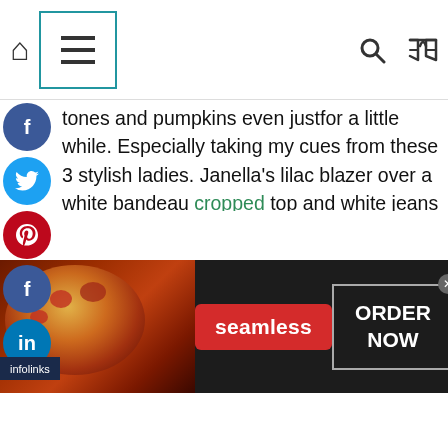Navigation bar with home, menu, search, shuffle icons
tones and pumpkins even justfor a little while. Especially taking my cues from these 3 stylish ladies. Janella’s lilac blazer over a white bandeau cropped top and white jeans for a casual lunch date or running errands. Julie Anne’s pink blazer over a cool Guns N’ Roses tee with denim shorts would look so cute with a pair of booties or mid-calf boots when you’re feeling that rock’n’roll vibe. Sarah’s pink blazer dress over a red long-sleeve knit top is such a beautiful color combo and would go perfect with knee-high boots.
[Figure (screenshot): Seamless food delivery advertisement banner with pizza image, seamless logo, and ORDER NOW button]